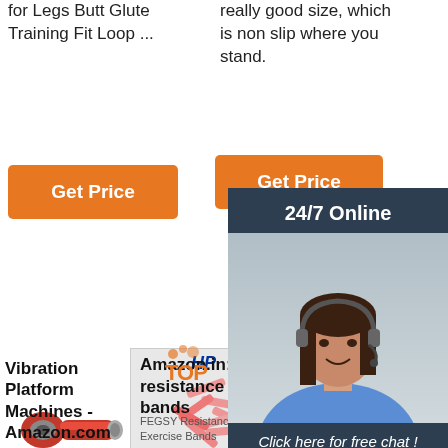for Legs Butt Glute Training Fit Loop ...
really good size, which is non slip where you stand.
[Figure (other): Orange Get Price button on left]
[Figure (other): Orange Get Price button on right (partially hidden by chat panel)]
[Figure (other): 24/7 Online chat panel with agent photo, Click here for free chat!, and QUOTATION button]
[Figure (photo): Red ring terminal connector product image]
[Figure (photo): HP branded image showing pink/red wire ferrules on light gray background]
[Figure (photo): HP branded image partially visible]
Vibration Platform Machines - Amazon.com
Amazon.in: resistance bands
FEGSY Resistance Tube Exercise Bands
3M Scotchloks, is my love so wrong. - Panbo